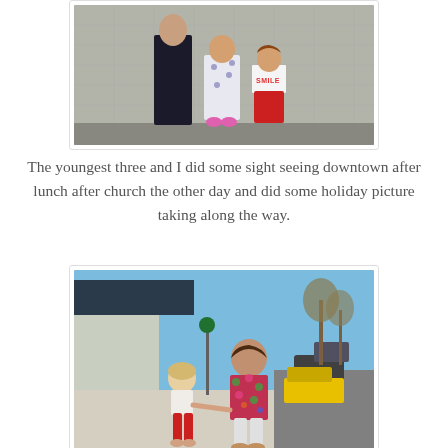[Figure (photo): Three children posing against a concrete wall. The leftmost child wears dark pants, the middle child wears a white dress with heart/dot pattern and pink shoes, the rightmost child wears a white top reading 'SMILE' and red pants.]
The youngest three and I did some sight seeing downtown after lunch after church the other day and did some holiday picture taking along the way.
[Figure (photo): Two children walking hand-in-hand on a sunny downtown sidewalk. The smaller child on the left has light/blonde hair and wears a white top with red pants; the taller child on the right wears a colorful floral jacket. Buildings and parked cars are visible in the background under a blue sky.]